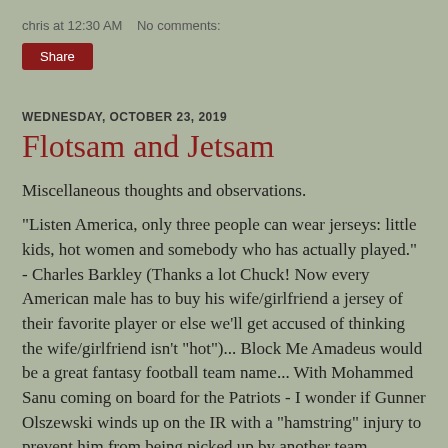chris at 12:30 AM   No comments:
Share
WEDNESDAY, OCTOBER 23, 2019
Flotsam and Jetsam
Miscellaneous thoughts and observations.
"Listen America, only three people can wear jerseys: little kids, hot women and somebody who has actually played." - Charles Barkley (Thanks a lot Chuck! Now every American male has to buy his wife/girlfriend a jersey of their favorite player or else we'll get accused of thinking the wife/girlfriend isn't "hot")... Block Me Amadeus would be a great fantasy football team name... With Mohammed Sanu coming on board for the Patriots - I wonder if Gunner Olszewski winds up on the IR with a "hamstring" injury to prevent him from being picked up by another team... Amazing to think it has been just 18-years since Steve Jobs and Apple introduced